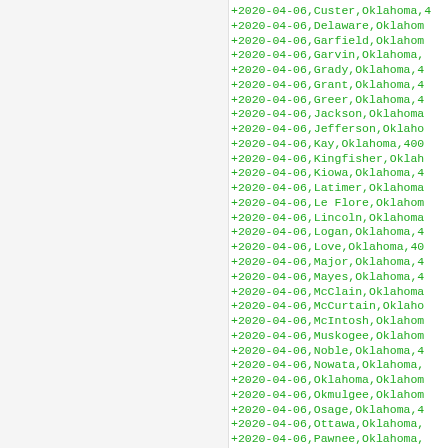+2020-04-06,Custer,Oklahoma,4
+2020-04-06,Delaware,Oklahoma,
+2020-04-06,Garfield,Oklahoma,
+2020-04-06,Garvin,Oklahoma,4
+2020-04-06,Grady,Oklahoma,40
+2020-04-06,Grant,Oklahoma,40
+2020-04-06,Greer,Oklahoma,40
+2020-04-06,Jackson,Oklahoma,
+2020-04-06,Jefferson,Oklaho
+2020-04-06,Kay,Oklahoma,4007
+2020-04-06,Kingfisher,Oklaho
+2020-04-06,Kiowa,Oklahoma,40
+2020-04-06,Latimer,Oklahoma,
+2020-04-06,Le Flore,Oklahoma
+2020-04-06,Lincoln,Oklahoma,
+2020-04-06,Logan,Oklahoma,40
+2020-04-06,Love,Oklahoma,400
+2020-04-06,Major,Oklahoma,40
+2020-04-06,Mayes,Oklahoma,40
+2020-04-06,McClain,Oklahoma,
+2020-04-06,McCurtain,Oklaho
+2020-04-06,McIntosh,Oklahoma
+2020-04-06,Muskogee,Oklahoma
+2020-04-06,Noble,Oklahoma,40
+2020-04-06,Nowata,Oklahoma,4
+2020-04-06,Oklahoma,Oklahoma
+2020-04-06,Okmulgee,Oklahoma
+2020-04-06,Osage,Oklahoma,40
+2020-04-06,Ottawa,Oklahoma,4
+2020-04-06,Pawnee,Oklahoma,4
+2020-04-06,Payne,Oklahoma,40
+2020-04-06,Pittsburg,Oklaho
+2020-04-06,Pontotoc,Oklahoma